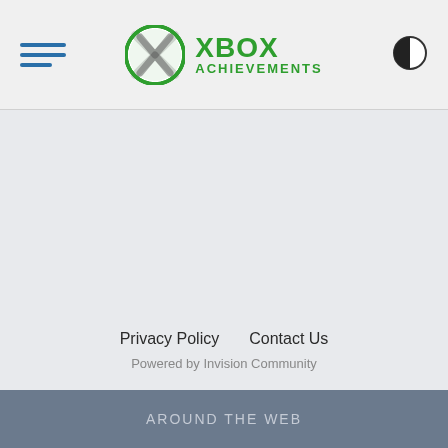XBOX ACHIEVEMENTS
Privacy Policy    Contact Us
Powered by Invision Community
AROUND THE WEB